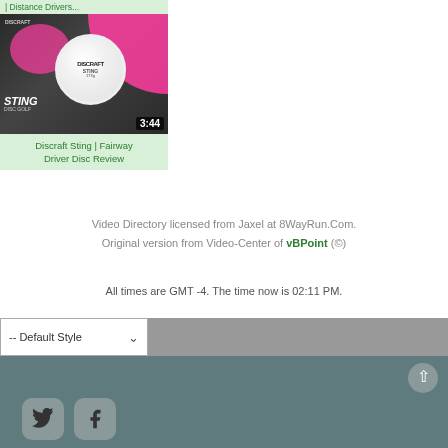| Distance Drivers...
[Figure (screenshot): Video thumbnail for Discraft Sting Fairway Driver Disc Review showing disc with pink splash design, duration 3:44]
Discraft Sting | Fairway Driver Disc Review
Video Directory licensed from Jaxel at 8WayRun.Com. Original version from Video-Center of vBPoint (©)
All times are GMT -4. The time now is 02:11 PM.
-- Default Style
[Figure (logo): Twitter social media icon (bird logo) in rounded square button]
[Figure (logo): Facebook social media icon (f logo) in rounded square button]